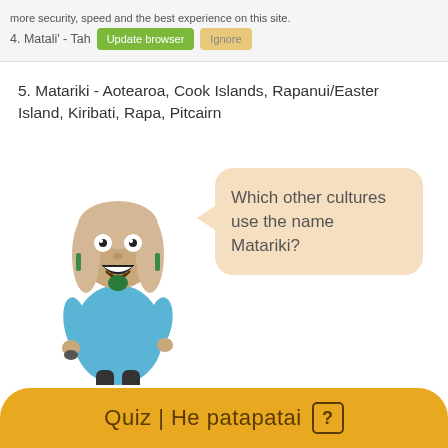more security, speed and the best experience on this site.
4. Matali' - Tahiti
5. Matariki - Aotearoa, Cook Islands, Rapanui/Easter Island, Kiribati, Rapa, Pitcairn
[Figure (illustration): Cartoon Māori woman character in a blue dress with moko kauae (chin tattoo), greenstone earrings and pendant, standing and smiling]
Which other cultures use the name Matariki?
Quiz | He patapatai ?